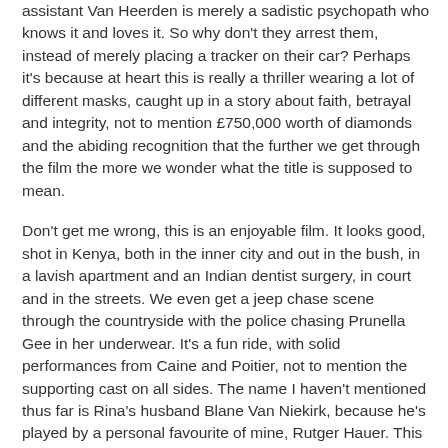assistant Van Heerden is merely a sadistic psychopath who knows it and loves it. So why don't they arrest them, instead of merely placing a tracker on their car? Perhaps it's because at heart this is really a thriller wearing a lot of different masks, caught up in a story about faith, betrayal and integrity, not to mention £750,000 worth of diamonds and the abiding recognition that the further we get through the film the more we wonder what the title is supposed to mean.
Don't get me wrong, this is an enjoyable film. It looks good, shot in Kenya, both in the inner city and out in the bush, in a lavish apartment and an Indian dentist surgery, in court and in the streets. We even get a jeep chase scene through the countryside with the police chasing Prunella Gee in her underwear. It's a fun ride, with solid performances from Caine and Poitier, not to mention the supporting cast on all sides. The name I haven't mentioned thus far is Rina's husband Blane Van Niekirk, because he's played by a personal favourite of mine, Rutger Hauer. This is the earliest I've seen him, before even Dutch films like Keetje Tippel and Cold Blood, and it's fascinating to see him so young. At the